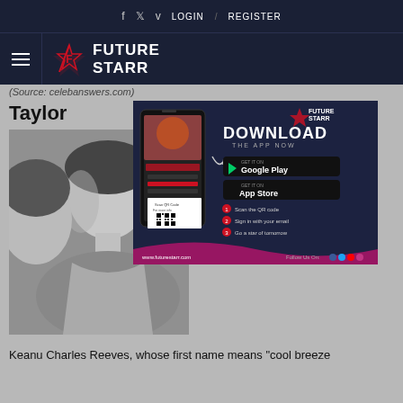f  t  v  LOGIN  /  REGISTER
[Figure (logo): Future Starr logo with star icon and hamburger menu]
(Source: celebanswers.com)
Taylor
[Figure (photo): Black and white photo of Keanu Reeves]
[Figure (infographic): Future Starr app advertisement - Download The App Now, Google Play and App Store buttons, QR code, www.futurestarr.com]
Keanu Charles Reeves, whose first name means "cool breeze